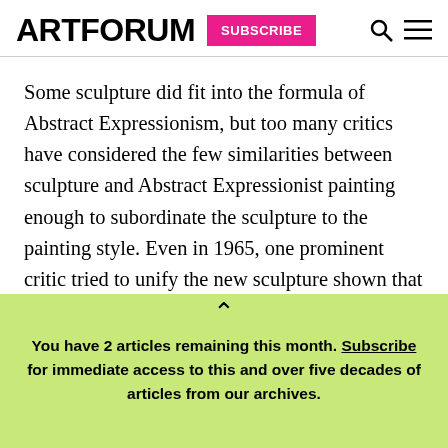ARTFORUM | SUBSCRIBE
Some sculpture did fit into the formula of Abstract Expressionism, but too many critics have considered the few similarities between sculpture and Abstract Expressionist painting enough to subordinate the sculpture to the painting style. Even in 1965, one prominent critic tried to unify the new sculpture shown that year at the Jewish Museum by writing that all of the works were derived from Abstract Expressionism—even though the exhibition included
You have 2 articles remaining this month. Subscribe for immediate access to this and over five decades of articles from our archives.